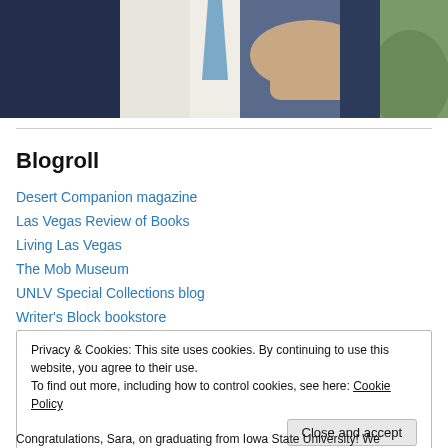[Figure (photo): Cropped photo of a man in a dark suit with a blue tie, visible from chest up, with greenery in the background]
Blogroll
Desert Companion magazine
Las Vegas Review of Books
Living Las Vegas
The Mob Museum
UNLV Special Collections blog
Writer's Block bookstore
Privacy & Cookies: This site uses cookies. By continuing to use this website, you agree to their use.
To find out more, including how to control cookies, see here: Cookie Policy
[Close and accept]
Congratulations, Sara, on graduating from Iowa State University! We